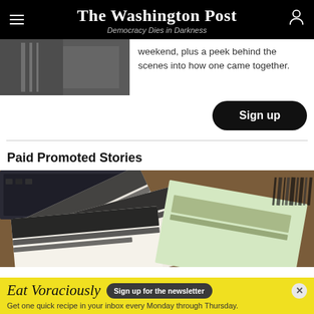The Washington Post — Democracy Dies in Darkness
weekend, plus a peek behind the scenes into how one came together.
Sign up
Paid Promoted Stories
[Figure (photo): Photo of stacked envelopes with redacted addresses on a wooden surface with a keyboard visible in the background]
Eat Voraciously  Sign up for the newsletter  Get one quick recipe in your inbox every Monday through Thursday.